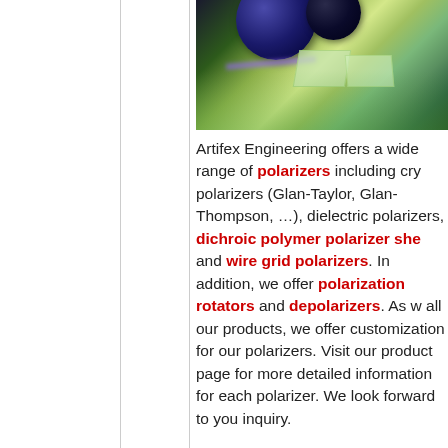[Figure (photo): Photo of optical components including dark spherical lenses/balls and crystal/glass polarizer elements on a light surface with a blue-purple light beam]
Artifex Engineering offers a wide range of polarizers including cry polarizers (Glan-Taylor, Glan-Thompson, …), dielectric polarizers, dichroic polymer polarizer sheets and wire grid polarizers. In addition, we offer polarization rotators and depolarizers. As with all our products, we offer customization for our polarizers. Visit our product page for more detailed information for each polarizer. We look forward to your inquiry.